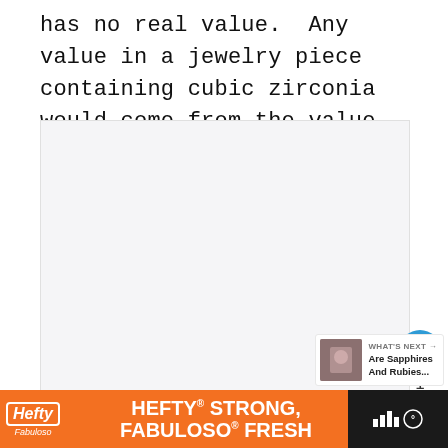has no real value.  Any value in a jewelry piece containing cubic zirconia would come from the value of the metal setting.
[Figure (photo): Large image placeholder area, light gray background, likely a photo of jewelry or cubic zirconia]
[Figure (screenshot): UI widget showing a blue heart/like button, count of 1, and a share button]
[Figure (screenshot): WHAT'S NEXT panel showing thumbnail image and text: Are Sapphires And Rubies...]
[Figure (infographic): Advertisement banner: Hefty STRONG, FABULOSO FRESH - orange background with Hefty and Fabuloso logos and product images]